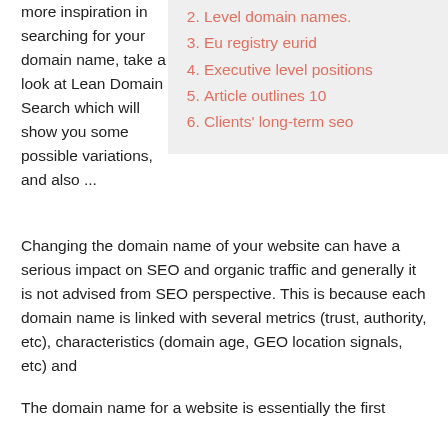more inspiration in searching for your domain name, take a look at Lean Domain Search which will show you some possible variations, and also ...
2. Level domain names.
3. Eu registry eurid
4. Executive level positions
5. Article outlines 10
6. Clients' long-term seo
Changing the domain name of your website can have a serious impact on SEO and organic traffic and generally it is not advised from SEO perspective. This is because each domain name is linked with several metrics (trust, authority, etc), characteristics (domain age, GEO location signals, etc) and
The domain name for a website is essentially the first